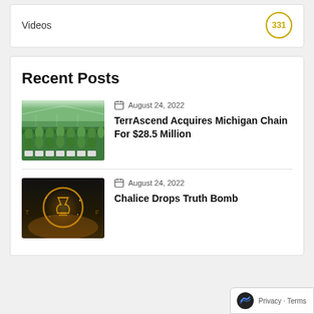Videos 331
Recent Posts
[Figure (photo): Greenhouse with rows of green plants under glass roof]
August 24, 2022
TerrAscend Acquires Michigan Chain For $28.5 Million
[Figure (photo): Dark image of a glowing golden chalice/hourglass symbol in a circle]
August 24, 2022
Chalice Drops Truth Bomb
Privacy · Terms